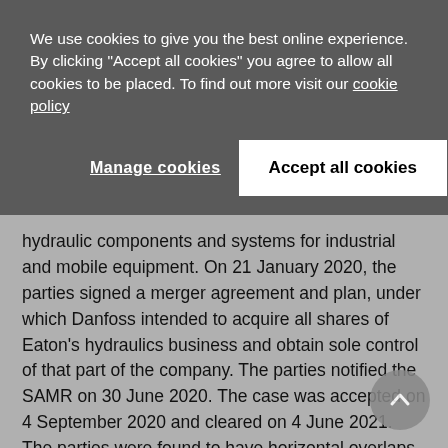We use cookies to give you the best online experience. By clicking "Accept all cookies" you agree to allow all cookies to be placed. To find out more visit our cookie policy
Manage cookies
Accept all cookies
hydraulic components and systems for industrial and mobile equipment. On 21 January 2020, the parties signed a merger agreement and plan, under which Danfoss intended to acquire all shares of Eaton's hydraulics business and obtain sole control of that part of the company. The parties notified the SAMR on 30 June 2020. The case was accepted on 4 September 2020 and cleared on 4 June 2021. The parties were found to have horizontal overlaps in the markets for